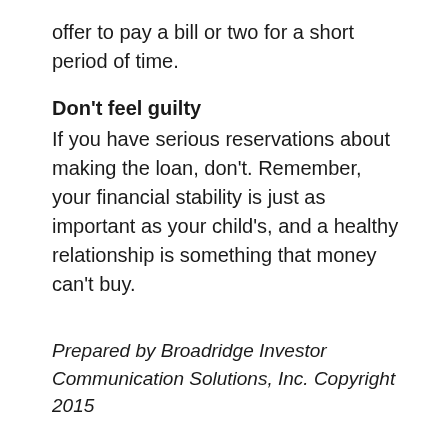offer to pay a bill or two for a short period of time.
Don't feel guilty
If you have serious reservations about making the loan, don't. Remember, your financial stability is just as important as your child's, and a healthy relationship is something that money can't buy.
Prepared by Broadridge Investor Communication Solutions, Inc. Copyright 2015